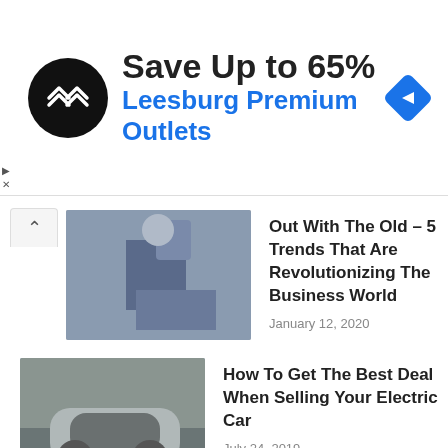[Figure (infographic): Advertisement banner: circular black logo with double arrow chevron icon, text 'Save Up to 65%' in bold black, 'Leesburg Premium Outlets' in blue, blue diamond navigation icon on right, small play and close icons on left]
Out With The Old – 5 Trends That Are Revolutionizing The Business World
January 12, 2020
How To Get The Best Deal When Selling Your Electric Car
July 24, 2019
Tricks For Boosting Your Broadband Speed
July 22, 2019